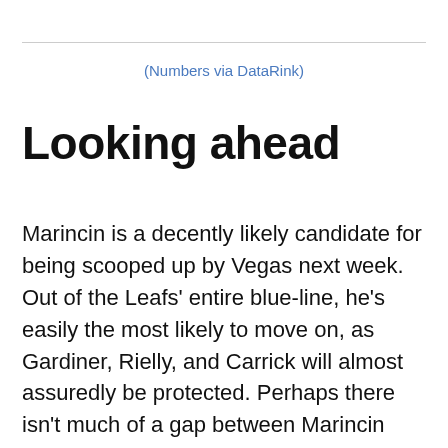(Numbers via DataRink)
Looking ahead
Marincin is a decently likely candidate for being scooped up by Vegas next week. Out of the Leafs' entire blue-line, he's easily the most likely to move on, as Gardiner, Rielly, and Carrick will almost assuredly be protected. Perhaps there isn't much of a gap between Marincin and Carrick right now – their profiles from an underlying numbers standpoint have been quite similar – but keeping